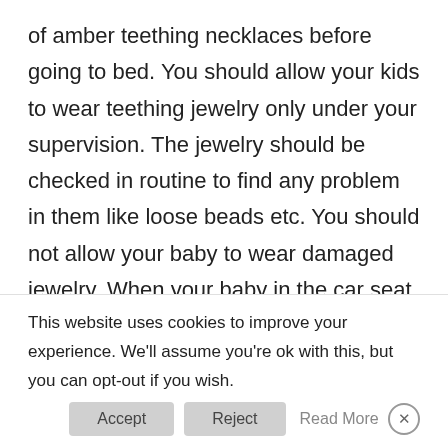of amber teething necklaces before going to bed. You should allow your kids to wear teething jewelry only under your supervision. The jewelry should be checked in routine to find any problem in them like loose beads etc. You should not allow your baby to wear damaged jewelry. When your baby in the car seat even then you must remove his amber teething jewelry. Thus it is safe to use amber teething jewelry so long as you use your common sense while practicing the safety tips discussed above
This website uses cookies to improve your experience. We'll assume you're ok with this, but you can opt-out if you wish.